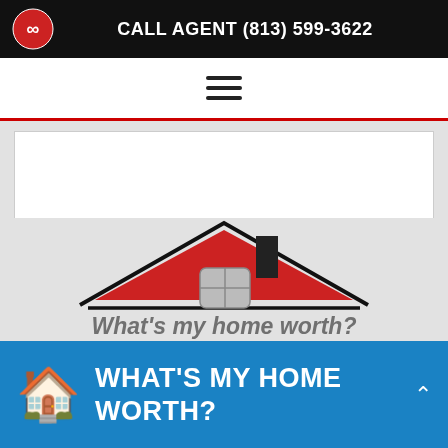CALL AGENT (813) 599-3622
[Figure (illustration): Hamburger menu icon (three horizontal lines)]
[Figure (illustration): White rectangular image/map placeholder card]
REAL ESTATE SERVICES
[Figure (illustration): House icon with red roof panels, black outline roof, grey window, and black chimney. Text overlay reads "What's my home worth?" with a rectangular border outline below.]
WHAT'S MY HOME WORTH?